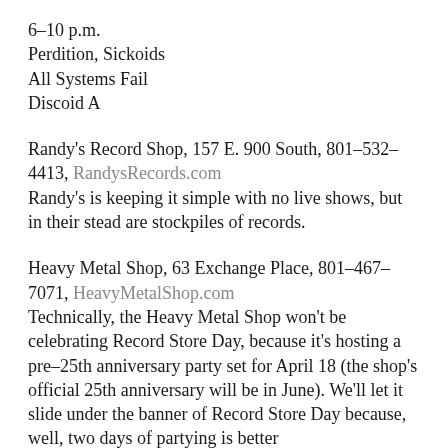6–10 p.m.
Perdition, Sickoids
All Systems Fail
Discoid A
Randy's Record Shop, 157 E. 900 South, 801–532–4413, RandysRecords.com
Randy's is keeping it simple with no live shows, but in their stead are stockpiles of records.
Heavy Metal Shop, 63 Exchange Place, 801–467–7071, HeavyMetalShop.com
Technically, the Heavy Metal Shop won't be celebrating Record Store Day, because it's hosting a pre–25th anniversary party set for April 18 (the shop's official 25th anniversary will be in June). We'll let it slide under the banner of Record Store Day because, well, two days of partying is better